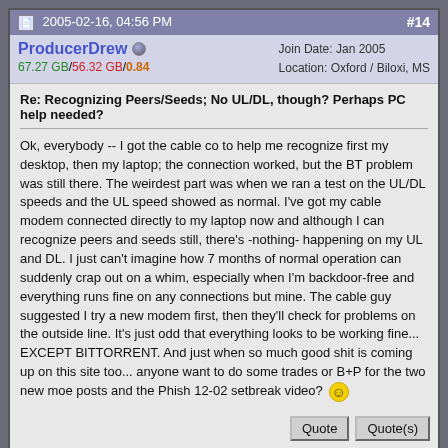2005-02-16, 04:56 PM  #14
ProducerDrew
67.27 GB/56.32 GB/0.84
Join Date: Jan 2005
Location: Oxford / Biloxi, MS
Re: Recognizing Peers/Seeds; No UL/DL, though? Perhaps PC help needed?
Ok, everybody -- I got the cable co to help me recognize first my desktop, then my laptop; the connection worked, but the BT problem was still there. The weirdest part was when we ran a test on the UL/DL speeds and the UL speed showed as normal. I've got my cable modem connected directly to my laptop now and although I can recognize peers and seeds still, there's -nothing- happening on my UL and DL. I just can't imagine how 7 months of normal operation can suddenly crap out on a whim, especially when I'm backdoor-free and everything runs fine on any connections but mine. The cable guy suggested I try a new modem first, then they'll check for problems on the outside line. It's just odd that everything looks to be working fine... EXCEPT BITTORRENT. And just when so much good shit is coming up on this site too... anyone want to do some trades or B+P for the two new moe posts and the Phish 12-02 setbreak video? :)
2005-02-16, 05:39 PM  #15